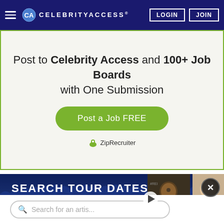CELEBRITYACCESS® | LOGIN | JOIN
Post to Celebrity Access and 100+ Job Boards with One Submission
Post a Job FREE
ZipRecruiter
SEARCH TOUR DATES
Search for an artist